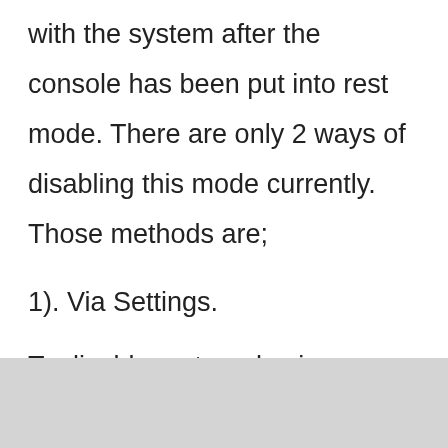with the system after the console has been put into rest mode. There are only 2 ways of disabling this mode currently. Those methods are;
1). Via Settings.
To disable rest mode via settings, follow the steps below;